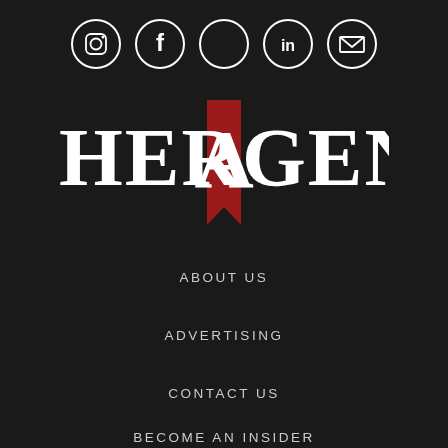[Figure (illustration): Row of 5 social media icons in circles: Instagram, Facebook, Twitter, LinkedIn, Email]
[Figure (logo): Her Agenda logo — serif text HER AGENDA with a large red bookmark/banner shape behind the letter A in the center]
ABOUT US
ADVERTISING
CONTACT US
BECOME AN INSIDER